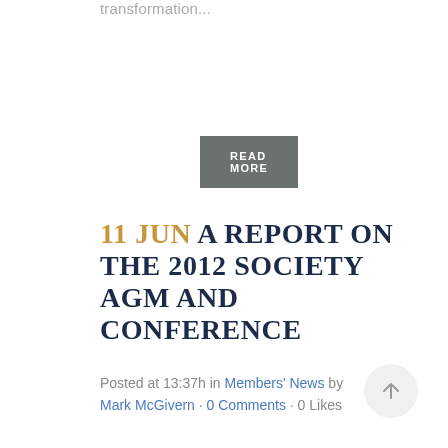transformation...
READ MORE
11 JUN A REPORT ON THE 2012 SOCIETY AGM AND CONFERENCE
Posted at 13:37h in Members' News by Mark McGivern · 0 Comments · 0 Likes